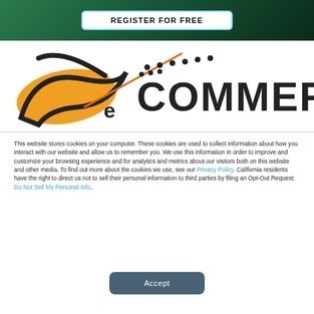[Figure (screenshot): Green gradient banner with 'REGISTER FOR FREE' button in white rounded rectangle with light blue border]
[Figure (logo): eCommerce logo with orange and black swoosh graphic and dotted letters spelling 'eCommerce']
This website stores cookies on your computer. These cookies are used to collect information about how you interact with our website and allow us to remember you. We use this information in order to improve and customize your browsing experience and for analytics and metrics about our visitors both on this website and other media. To find out more about the cookies we use, see our Privacy Policy. California residents have the right to direct us not to sell their personal information to third parties by filing an Opt-Out Request: Do Not Sell My Personal Info.
Accept